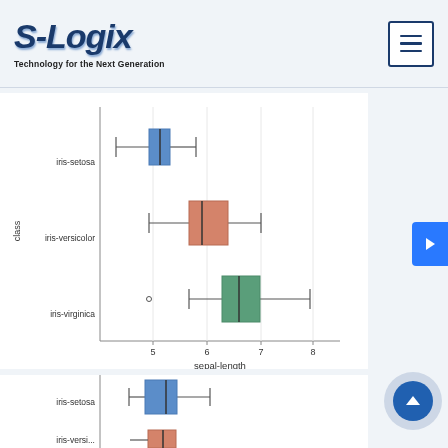S-Logix — Technology for the Next Generation
[Figure (continuous-plot): Horizontal box plots for iris dataset sepal-length by class: iris-setosa (blue, ~4.3–5.2, median ~5.0), iris-versicolor (orange, ~4.9–7.0, median ~5.9), iris-virginica (green, ~4.9–7.9 with outlier ~4.9, median ~6.5). X-axis label: sepal-length, ticks at 5, 6, 7, 8. Y-axis label: class.]
[Figure (continuous-plot): Partial horizontal box plot for iris dataset (second chart, partially visible). iris-setosa shown with blue box, and partial orange box below. X-axis partially visible.]